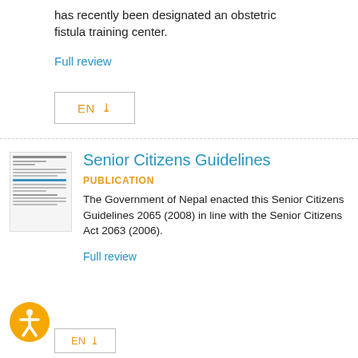has recently been designated an obstetric fistula training center.
Full review
[Figure (other): EN download button with orange EN text and download arrow, inside a rectangular border]
[Figure (other): Thumbnail image of a document page for Senior Citizens Guidelines]
Senior Citizens Guidelines
PUBLICATION
The Government of Nepal enacted this Senior Citizens Guidelines 2065 (2008) in line with the Senior Citizens Act 2063 (2006).
Full review
[Figure (other): Orange accessibility icon showing a person figure in a circle]
[Figure (other): Partially visible EN download button at bottom]